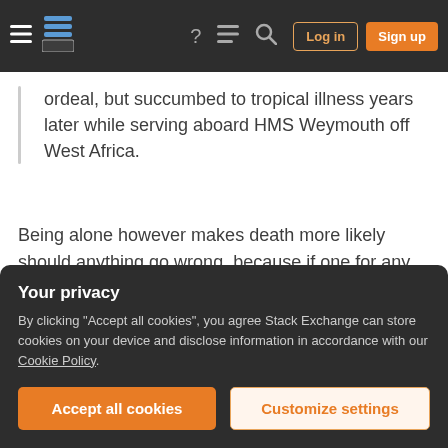Stack Exchange navigation bar with hamburger menu, logo, help, chat, search icons, Log in and Sign up buttons
ordeal, but succumbed to tropical illness years later while serving aboard HMS Weymouth off West Africa.
Being alone however makes death more likely should anything go wrong, because if one for any reason is not able to get food/water on their own, they are out of luck.
In your scenario, when one has to be alone with a stockpile of food, that doesn't seem the case.
Your privacy
By clicking "Accept all cookies", you agree Stack Exchange can store cookies on your device and disclose information in accordance with our Cookie Policy.
Accept all cookies
Customize settings
canned food.